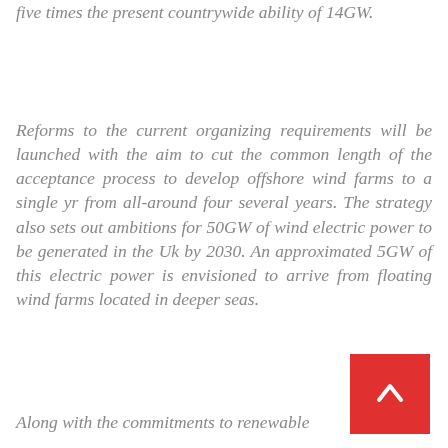five times the present countrywide ability of 14GW.
Reforms to the current organizing requirements will be launched with the aim to cut the common length of the acceptance process to develop offshore wind farms to a single yr from all-around four several years. The strategy also sets out ambitions for 50GW of wind electric power to be generated in the Uk by 2030. An approximated 5GW of this electric power is envisioned to arrive from floating wind farms located in deeper seas.
Along with the commitments to renewable